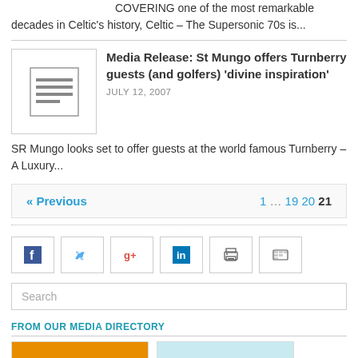COVERING one of the most remarkable decades in Celtic's history, Celtic – The Supersonic 70s is...
Media Release: St Mungo offers Turnberry guests (and golfers) 'divine inspiration'
JULY 12, 2007
SR Mungo looks set to offer guests at the world famous Turnberry – A Luxury...
« Previous  1 … 19 20 21
[Figure (infographic): Social media sharing buttons: Facebook, Twitter, Google+, LinkedIn, Print, Email/other]
Search
FROM OUR MEDIA DIRECTORY
[Figure (photo): Two media directory cards: one with orange background with dark circular shape, one with light blue background with object]